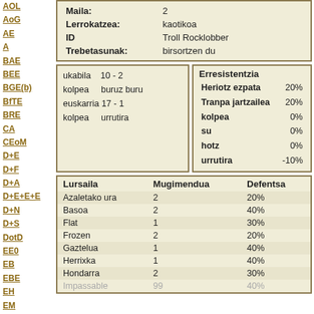AOL
AoG
AE
A
BAE
BEE
BGE(b)
BfTE
BRE
CA
CEoM
D+E
D+F
D+A
D+E+E+E
D+N
D+S
DotD
EE0
EB
EBE
EH
EM
EoA
EoA
| Maila: | 2 | Lerrokatzea: | kaotikoa | ID | Troll Rocklobber | Trebetasunak: | birsortzen du |
| --- | --- | --- | --- | --- | --- | --- | --- |
| ukabila | 10 - 2 |
| kolpea | buruz buru |
| euskarria | 17 - 1 |
| kolpea | urrutira |
| Erresistentzia |
| --- |
| Heriotz ezpata | 20% |
| Tranpa jartzailea | 20% |
| kolpea | 0% |
| su | 0% |
| hotz | 0% |
| urrutira | -10% |
| Lursaila | Mugimendua | Defentsa |
| --- | --- | --- |
| Azaletako ura | 2 | 20% |
| Basoa | 2 | 40% |
| Flat | 1 | 30% |
| Frozen | 2 | 20% |
| Gaztelua | 1 | 40% |
| Herrixka | 1 | 40% |
| Hondarra | 2 | 30% |
| Impassable | 99 | 40% |